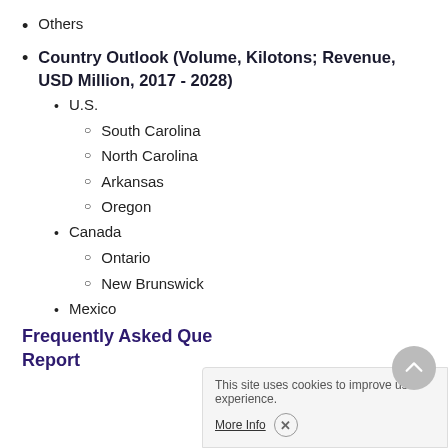Others
Country Outlook (Volume, Kilotons; Revenue, USD Million, 2017 - 2028)
U.S.
South Carolina
North Carolina
Arkansas
Oregon
Canada
Ontario
New Brunswick
Mexico
Frequently Asked Questions Related to Report